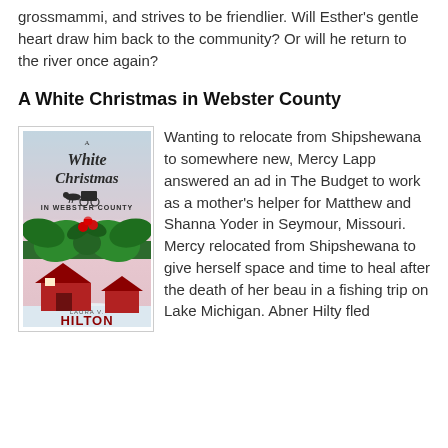grossmammi, and strives to be friendlier. Will Esther's gentle heart draw him back to the community? Or will he return to the river once again?
A White Christmas in Webster County
[Figure (illustration): Book cover for 'A White Christmas in Webster County' by Laura V. Hilton. Features cursive title text, a small silhouette of a horse and buggy, a large green holly bow with red berries, and a snowy red barn scene at the bottom. Light blue and pink background.]
Wanting to relocate from Shipshewana to somewhere new, Mercy Lapp answered an ad in The Budget to work as a mother's helper for Matthew and Shanna Yoder in Seymour, Missouri. Mercy relocated from Shipshewana to give herself space and time to heal after the death of her beau in a fishing trip on Lake Michigan. Abner Hilty fled